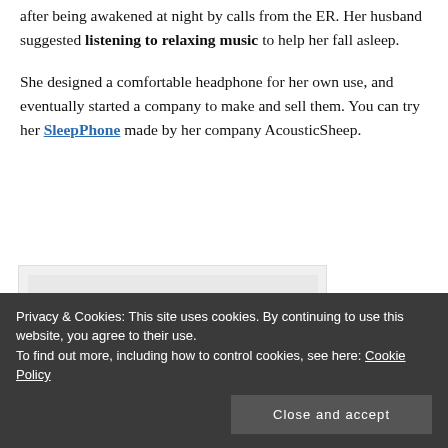after being awakened at night by calls from the ER. Her husband suggested listening to relaxing music to help her fall asleep.
She designed a comfortable headphone for her own use, and eventually started a company to make and sell them. You can try her SleepPhone made by her company AcousticSheep.
[Figure (photo): A dark grey/black SleepPhone headband (sleep headphones) shown on a white/light background, oval ring shape]
Privacy & Cookies: This site uses cookies. By continuing to use this website, you agree to their use. To find out more, including how to control cookies, see here: Cookie Policy